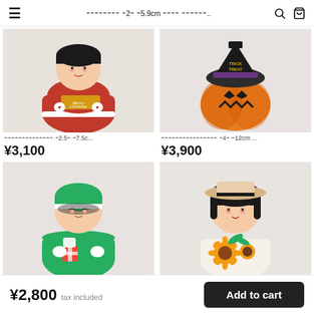≡  ？？？？？？？？ ？2？ ？5.9cm ？？？？ ？？？？？？..  🔍  🛒
[Figure (photo): Kokeshi doll in red Santa Claus outfit with 'Merry Christmas' text, painted wooden Japanese doll]
[Figure (photo): Kokeshi doll shaped as Halloween jack-o-lantern pumpkin with witch hat, orange pumpkin body with carved face]
？？？？？？？？？？？？？？ ？2.5？ ？7.5c...
？？？？？？？？？？？？？？？？ ？4？ ？12cm ...
¥3,100
¥3,900
[Figure (photo): Kokeshi doll in green outfit with white hair band, holding a pink gift box, smiling face]
[Figure (photo): Kokeshi doll with straw hat and sunflower pattern on body, black hair, gentle smile]
¥2,800  tax included
Add to cart